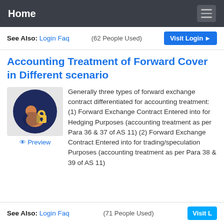Home
See Also: Login Faq (62 People Used) Visit Login
Accounting Treatment of Forward Cover in Different scenario
[Figure (illustration): Dark navy circle icon showing a person silhouette with a padlock, on a light grey background. Preview link below icon.]
Generally three types of forward exchange contract differentiated for accounting treatment: (1) Forward Exchange Contract Entered into for Hedging Purposes (accounting treatment as per Para 36 & 37 of AS 11) (2) Forward Exchange Contract Entered into for trading/speculation Purposes (accounting treatment as per Para 38 & 39 of AS 11)
See Also: Login Faq (71 People Used) Visit L